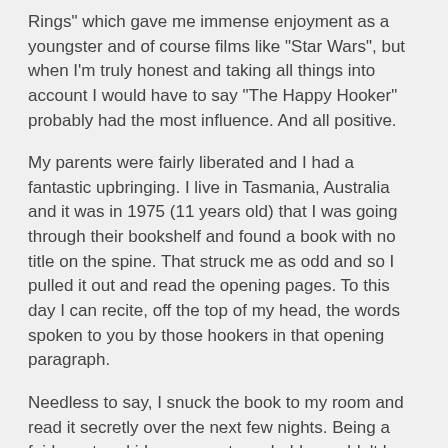Rings" which gave me immense enjoyment as a youngster and of course films like "Star Wars", but when I'm truly honest and taking all things into account I would have to say "The Happy Hooker" probably had the most influence. And all positive.
My parents were fairly liberated and I had a fantastic upbringing. I live in Tasmania, Australia and it was in 1975 (11 years old) that I was going through their bookshelf and found a book with no title on the spine. That struck me as odd and so I pulled it out and read the opening pages. To this day I can recite, off the top of my head, the words spoken to you by those hookers in that opening paragraph.
Needless to say, I snuck the book to my room and read it secretly over the next few nights. Being a fairly mature kid, my parents probably wouldn't have minded me reading it, but I wasn't going to let them know anyway. From a physical perspective I hadn't started to develop yet, but I'm sure the hormones were clicking in. For the first time I was genuinely